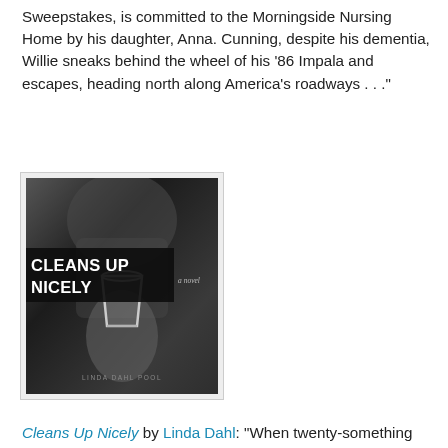Sweepstakes, is committed to the Morningside Nursing Home by his daughter, Anna. Cunning, despite his dementia, Willie sneaks behind the wheel of his '86 Impala and escapes, heading north along America's roadways . . ."
[Figure (photo): Black and white book cover of 'Cleans Up Nicely – a novel' by Linda Dahl Pool, showing a hand holding a glass]
Cleans Up Nicely by Linda Dahl: "When twenty-something artist Erica Mason moves from laid-back Mexico to Manhattan in the mid-1970s, she finds a hard-edged, decadent, and radically evolving art scene."
I also got one book from the LibraryThing Early reviewer